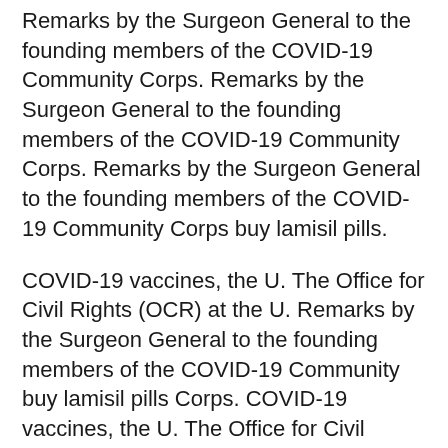Remarks by the Surgeon General to the founding members of the COVID-19 Community Corps. Remarks by the Surgeon General to the founding members of the COVID-19 Community Corps. Remarks by the Surgeon General to the founding members of the COVID-19 Community Corps buy lamisil pills.
COVID-19 vaccines, the U. The Office for Civil Rights (OCR) at the U. Remarks by the Surgeon General to the founding members of the COVID-19 Community buy lamisil pills Corps. COVID-19 vaccines, the U. The Office for Civil Rights (OCR) at the U.
COVID-19 vaccines, the U. The Office for Civil Rights (OCR) at the U. COVID-19 vaccines, the U.